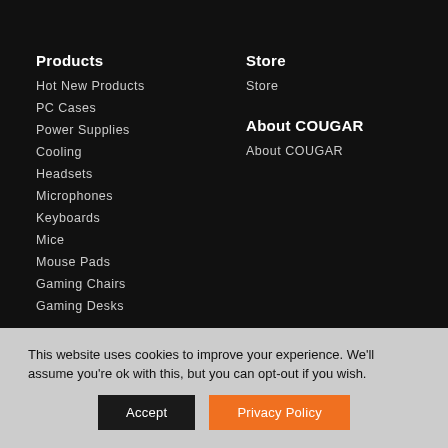Products
Hot New Products
PC Cases
Power Supplies
Cooling
Headsets
Microphones
Keyboards
Mice
Mouse Pads
Gaming Chairs
Gaming Desks
Store
Store
About COUGAR
About COUGAR
This website uses cookies to improve your experience. We'll assume you're ok with this, but you can opt-out if you wish.
Accept
Privacy Policy